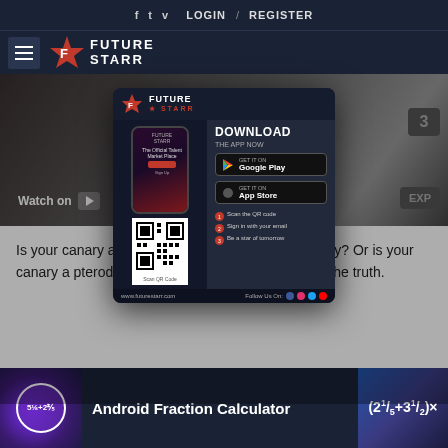f  t  v  LOGIN / REGISTER
[Figure (logo): Future Starr logo with star icon and hamburger menu]
[Figure (screenshot): Video thumbnail showing calculator keys background with Watch on label]
[Figure (infographic): Future Starr app download popup with phone mockup, QR code, Google Play and App Store buttons, and step instructions]
Is your canary a future starr? Is your name a canary? Or is your canary a pterodactyl? We leave it to you to decide the truth.
[Figure (screenshot): Android Fraction Calculator video thumbnail with fraction formula display]